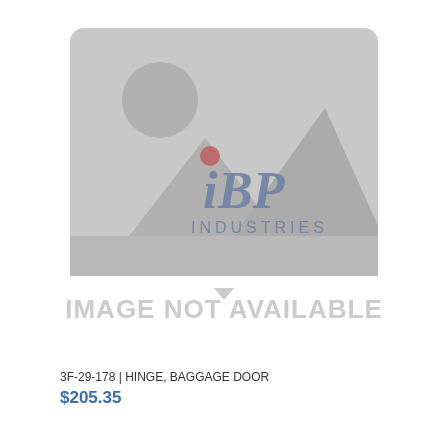[Figure (photo): Placeholder image showing a generic 'image not available' graphic with mountain/landscape silhouette and sun icon, with IBP Industries watermark overlay. Below the image placeholder reads 'IMAGE NOT AVAILABLE' in large light gray text.]
3F-29-178 | HINGE, BAGGAGE DOOR
$205.35